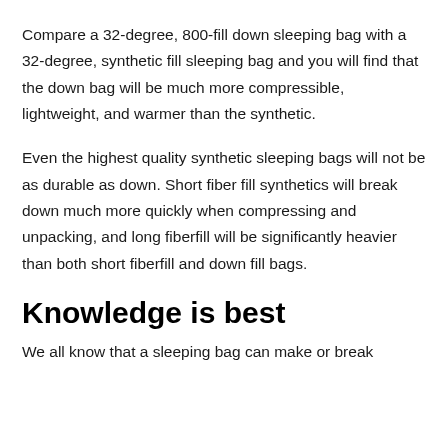Compare a 32-degree, 800-fill down sleeping bag with a 32-degree, synthetic fill sleeping bag and you will find that the down bag will be much more compressible, lightweight, and warmer than the synthetic.
Even the highest quality synthetic sleeping bags will not be as durable as down. Short fiber fill synthetics will break down much more quickly when compressing and unpacking, and long fiberfill will be significantly heavier than both short fiberfill and down fill bags.
Knowledge is best
We all know that a sleeping bag can make or break